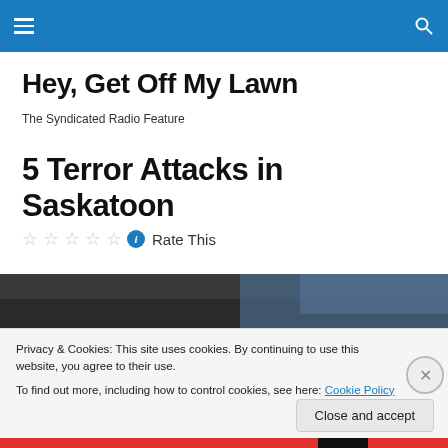Hey, Get Off My Lawn
The Syndicated Radio Feature
5 Terror Attacks in Saskatoon
Rate This
[Figure (photo): Dark photograph with blue tones, partially visible]
Privacy & Cookies: This site uses cookies. By continuing to use this website, you agree to their use.
To find out more, including how to control cookies, see here: Cookie Policy
Close and accept